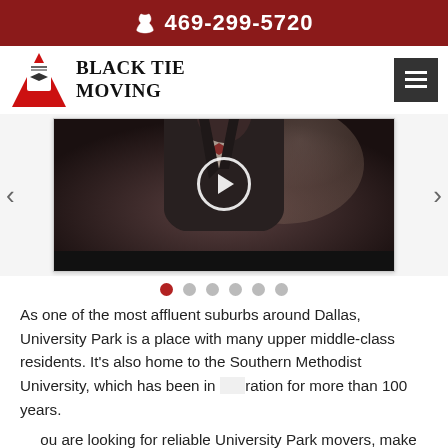469-299-5720
[Figure (logo): Black Tie Moving logo with triangle and bow-tie emblem]
Black Tie Moving
[Figure (screenshot): Video thumbnail showing a man in a suit with a play button overlay, from a slider carousel with 6 dot navigation indicators]
As one of the most affluent suburbs around Dallas, University Park is a place with many upper middle-class residents. It's also home to the Southern Methodist University, which has been in operation for more than 100 years.
If you are looking for reliable University Park movers, make sure to pick Black Tie Moving. We offer the red carpet treatment to all of our clients, from businesses to homeowners